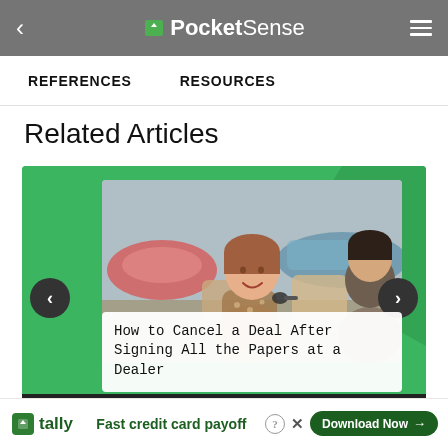PocketSense
REFERENCES   RESOURCES
Related Articles
[Figure (photo): Carousel card showing a woman holding a car key at a dealership with the article title 'How to Cancel a Deal After Signing All the Papers at a Dealer']
How to Cancel a Deal After Signing All the Papers at a Dealer
Fast credit card payoff